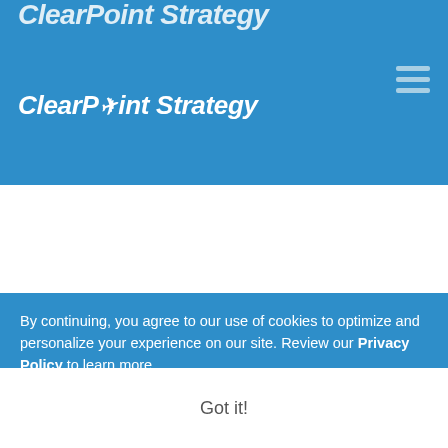ClearPoint Strategy
[Figure (logo): ClearPoint Strategy logo with italic bold text and arrow graphic, white on blue background]
By continuing, you agree to our use of cookies to optimize and personalize your experience on our site. Review our Privacy Policy to learn more.
Got it!